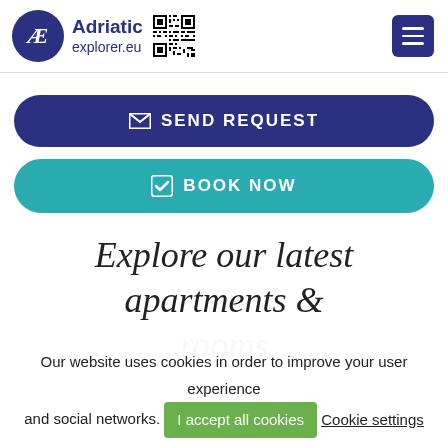Adriatic explorer.eu — navigation header with logo, QR code, and hamburger menu
✉ SEND REQUEST
☑ BOOK NOW
Explore our latest apartments & rooms
Our website uses cookies in order to improve your user experience and social networks. I accept all cookies  Cookie settings